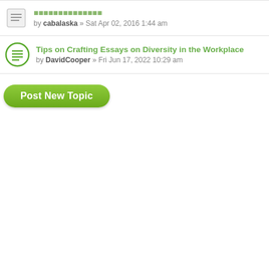by cabalaska » Sat Apr 02, 2016 1:44 am
Tips on Crafting Essays on Diversity in the Workplace
by DavidCooper » Fri Jun 17, 2022 10:29 am
Post New Topic